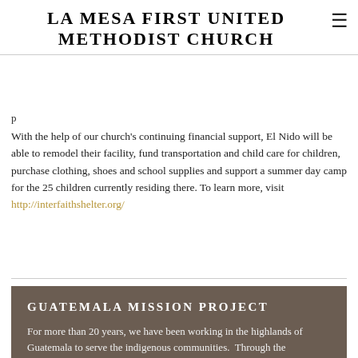LA MESA FIRST UNITED METHODIST CHURCH
With the help of our church's continuing financial support, El Nido will be able to remodel their facility, fund transportation and child care for children, purchase clothing, shoes and school supplies and support a summer day camp for the 25 children currently residing there. To learn more, visit http://interfaithshelter.org/
GUATEMALA MISSION PROJECT
For more than 20 years, we have been working in the highlands of Guatemala to serve the indigenous communities.  Through the Guatemala Project, we